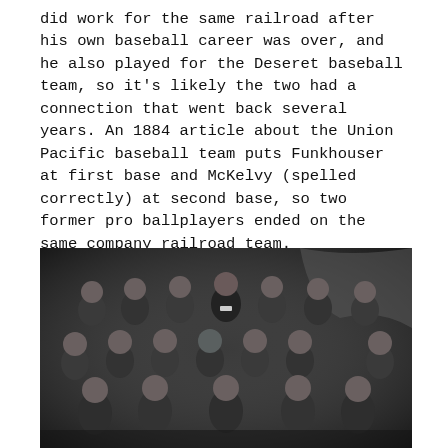did work for the same railroad after his own baseball career was over, and he also played for the Deseret baseball team, so it's likely the two had a connection that went back several years. An 1884 article about the Union Pacific baseball team puts Funkhouser at first base and McKelvy (spelled correctly) at second base, so two former pro ballplayers ended on the same company railroad team.
[Figure (photo): Black and white historical photograph of a baseball team, showing approximately 16 men in dark uniforms arranged in three rows — a standing back row, a middle row, and a seated front row.]